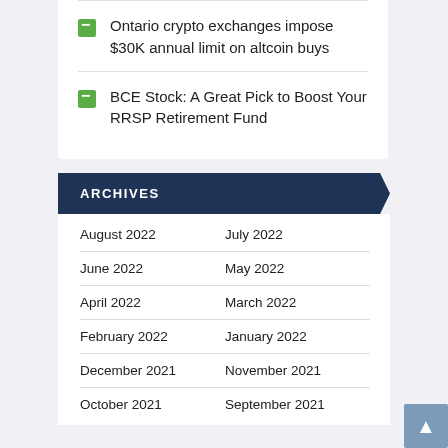Ontario crypto exchanges impose $30K annual limit on altcoin buys
BCE Stock: A Great Pick to Boost Your RRSP Retirement Fund
ARCHIVES
August 2022
July 2022
June 2022
May 2022
April 2022
March 2022
February 2022
January 2022
December 2021
November 2021
October 2021
September 2021